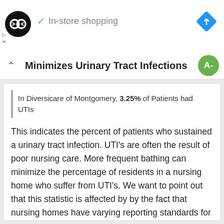In-store shopping
Minimizes Urinary Tract Infections
In Diversicare of Montgomery, 3.25% of Patients had UTIs
This indicates the percent of patients who sustained a urinary tract infection. UTI's are often the result of poor nursing care. More frequent bathing can minimize the percentage of residents in a nursing home who suffer from UTI's. We want to point out that this statistic is affected by by the fact that nursing homes have varying reporting standards for urinary tract infections.